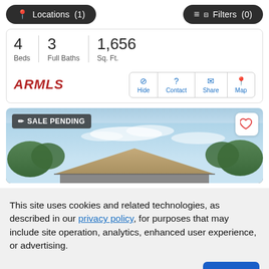[Figure (screenshot): Top navigation bar with 'Locations (1)' and 'Filters (0)' buttons on dark pill-shaped backgrounds]
4 Beds  3 Full Baths  1,656 Sq. Ft.
[Figure (logo): ARMLS logo in bold red italic text]
[Figure (other): Action buttons: Hide, Contact, Share, Map in blue]
[Figure (photo): House listing photo showing rooftop against cloudy sky with trees, labeled SALE PENDING]
This site uses cookies and related technologies, as described in our privacy policy, for purposes that may include site operation, analytics, enhanced user experience, or advertising.
Manage Preferences
Accept